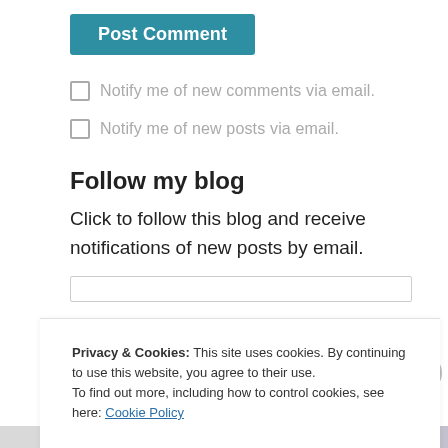Post Comment
Notify me of new comments via email.
Notify me of new posts via email.
Follow my blog
Click to follow this blog and receive notifications of new posts by email.
Privacy & Cookies: This site uses cookies. By continuing to use this website, you agree to their use.
To find out more, including how to control cookies, see here: Cookie Policy
Close and accept